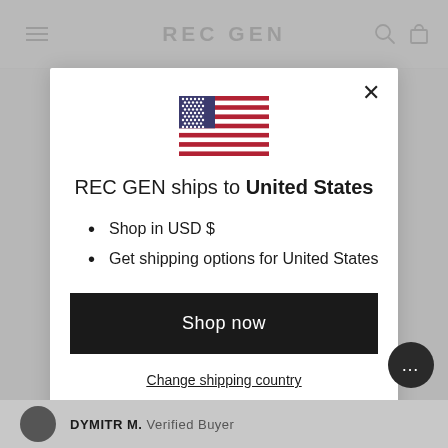REC GEN
[Figure (logo): REC GEN e-commerce website header with hamburger menu on left, REC GEN logo in center, search and cart icons on right]
[Figure (illustration): US flag icon shown inside modal dialog]
REC GEN ships to United States
Shop in USD $
Get shipping options for United States
Shop now
Change shipping country
DYMITR M. Verified Buyer